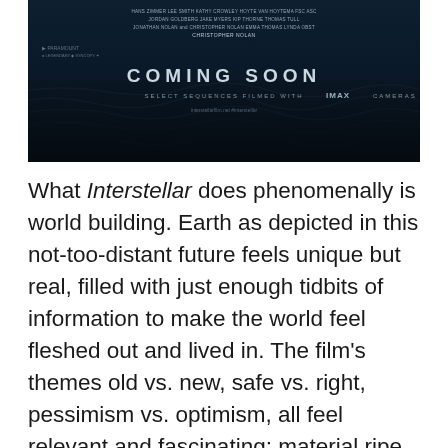[Figure (photo): Movie banner/poster for Interstellar film showing dark ocean waves with text 'COMING SOON' and 'SELECT SEQUENCES FILMED WITH IMAX CAMERAS'. Credits listed at top include Hans Zimmer, Lee Smith, Kathy Crowley, Matthew McConaughey, directed by Christopher Nolan.]
What Interstellar does phenomenally is world building. Earth as depicted in this not-too-distant future feels unique but real, filled with just enough tidbits of information to make the world feel fleshed out and lived in. The film's themes old vs. new, safe vs. right, pessimism vs. optimism, all feel relevant and fascinating; material ripe for debate and mirrored in our own lives today. The film runs for nearly three hours, but it's needed in order to get across all of these details and the pacing is solid enough that you don't really feel it. The imagination and scope of the world and its ideas are what carries Interstellar into being an experience worth partaking